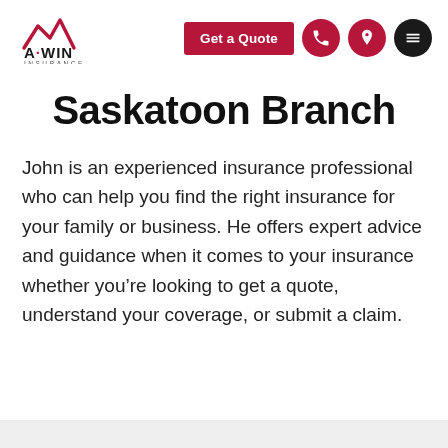[Figure (logo): A-WIN Insurance logo with mountain/wave graphic in red and black, text 'A·WIN INSURANCE']
Saskatoon Branch
John is an experienced insurance professional who can help you find the right insurance for your family or business. He offers expert advice and guidance when it comes to your insurance whether you're looking to get a quote, understand your coverage, or submit a claim.